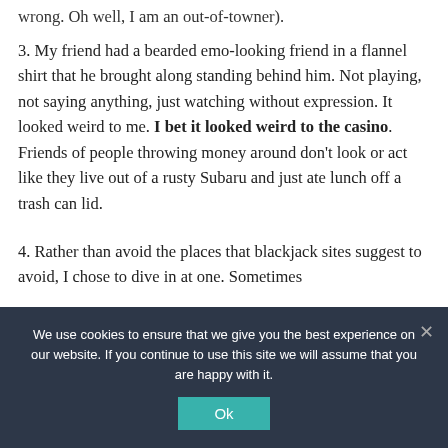wrong. Oh well, I am an out-of-towner).
3. My friend had a bearded emo-looking friend in a flannel shirt that he brought along standing behind him. Not playing, not saying anything, just watching without expression. It looked weird to me. I bet it looked weird to the casino. Friends of people throwing money around don't look or act like they live out of a rusty Subaru and just ate lunch off a trash can lid.
4. Rather than avoid the places that blackjack sites suggest to avoid, I chose to dive in at one. Sometimes
We use cookies to ensure that we give you the best experience on our website. If you continue to use this site we will assume that you are happy with it. Ok